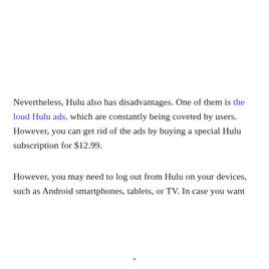Nevertheless, Hulu also has disadvantages. One of them is the loud Hulu ads, which are constantly being coveted by users. However, you can get rid of the ads by buying a special Hulu subscription for $12.99.
However, you may need to log out from Hulu on your devices, such as Android smartphones, tablets, or TV. In case you want